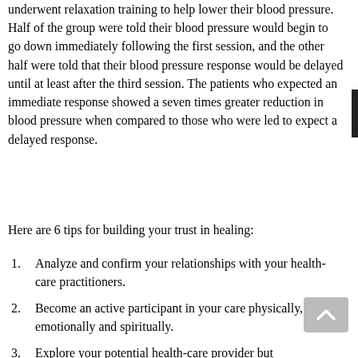underwent relaxation training to help lower their blood pressure. Half of the group were told their blood pressure would begin to go down immediately following the first session, and the other half were told that their blood pressure response would be delayed until at least after the third session. The patients who expected an immediate response showed a seven times greater reduction in blood pressure when compared to those who were led to expect a delayed response.
Here are 6 tips for building your trust in healing:
Analyze and confirm your relationships with your health-care practitioners.
Become an active participant in your care physically, emotionally and spiritually.
Explore your potential health-care provider but